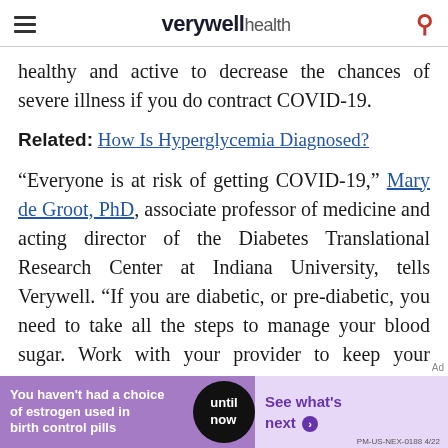verywell health
healthy and active to decrease the chances of severe illness if you do contract COVID-19.
Related: How Is Hyperglycemia Diagnosed?
“Everyone is at risk of getting COVID-19,” Mary de Groot, PhD, associate professor of medicine and acting director of the Diabetes Translational Research Center at Indiana University, tells Verywell. “If you are diabetic, or pre-diabetic, you need to take all the steps to manage your blood sugar. Work with your provider to keep your numbers as normal as possible, eat healthy, and
[Figure (other): Advertisement banner: purple background with text 'You haven't had a choice of estrogen used in birth control pills', black circle with 'until now', and light purple section with 'See what's next' arrow button. PM-US-NEX-0188 4/22]